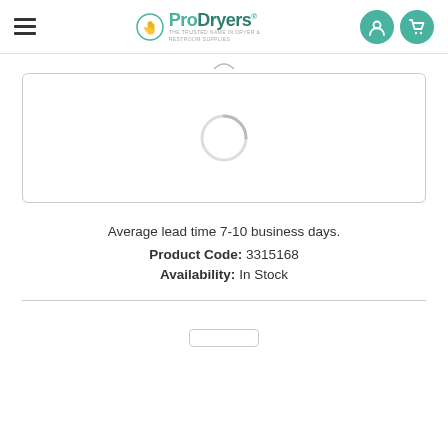ProDryers — The Trusted Name in Dryer & Restroom Supplies
[Figure (screenshot): Loading spinner (circular arc) inside a rounded-corner bordered box, representing a loading/pending product image or content area]
Average lead time 7-10 business days.
Product Code: 3315168
Availability: In Stock